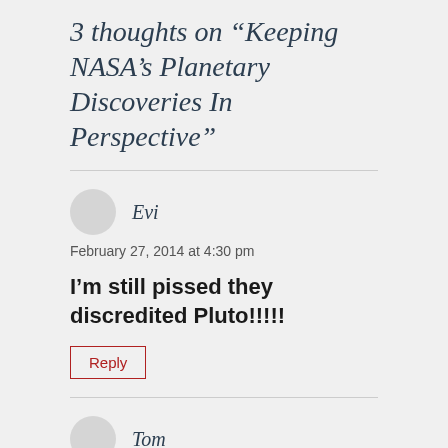3 thoughts on “Keeping NASA’s Planetary Discoveries In Perspective”
Evi
February 27, 2014 at 4:30 pm
I’m still pissed they discredited Pluto!!!!!
Reply
Tom